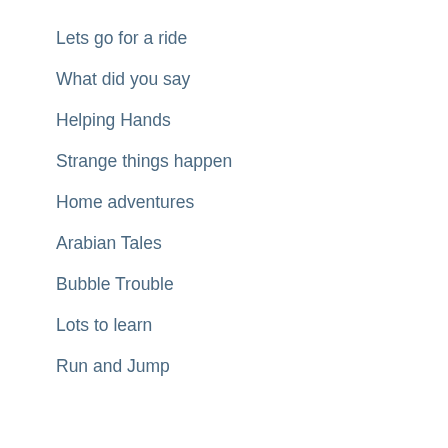Lets go for a ride
What did you say
Helping Hands
Strange things happen
Home adventures
Arabian Tales
Bubble Trouble
Lots to learn
Run and Jump